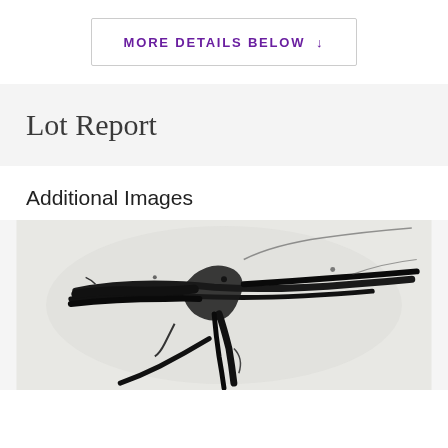MORE DETAILS BELOW ↓
Lot Report
Additional Images
[Figure (illustration): Black and white abstract artwork or print showing an abstract bird-like or figure form rendered in gestural black brushstrokes on a light background, cropped closely.]